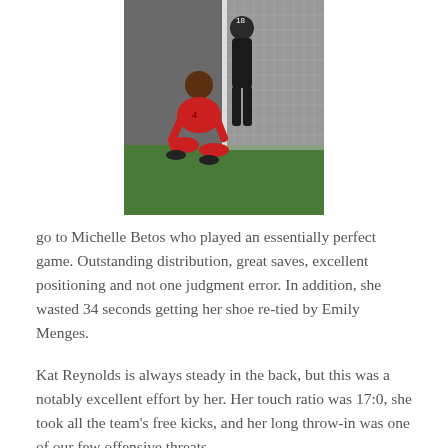[Figure (photo): Two soccer players in red jerseys near a goal net; one player is kneeling on the ground while another stands behind them. The number 18 is visible on a jersey.]
go to Michelle Betos who played an essentially perfect game. Outstanding distribution, great saves, excellent positioning and not one judgment error. In addition, she wasted 34 seconds getting her shoe re-tied by Emily Menges.
Kat Reynolds is always steady in the back, but this was a notably excellent effort by her. Her touch ratio was 17:0, she took all the team's free kicks, and her long throw-in was one of our few offensive threats.